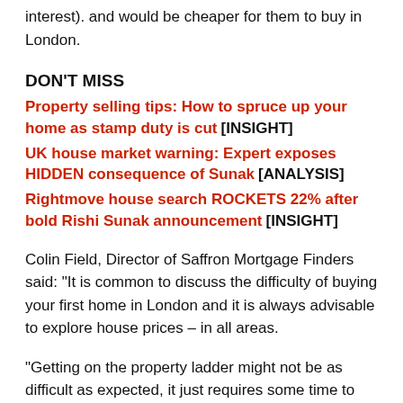interest). and would be cheaper for them to buy in London.
DON'T MISS
Property selling tips: How to spruce up your home as stamp duty is cut [INSIGHT]
UK house market warning: Expert exposes HIDDEN consequence of Sunak [ANALYSIS]
Rightmove house search ROCKETS 22% after bold Rishi Sunak announcement [INSIGHT]
Colin Field, Director of Saffron Mortgage Finders said: “It is common to discuss the difficulty of buying your first home in London and it is always advisable to explore house prices – in all areas.
“Getting on the property ladder might not be as difficult as expected, it just requires some time to research, plan and budget and if done cleverly, it does not have to financially or physically disrupt your lifestyle.